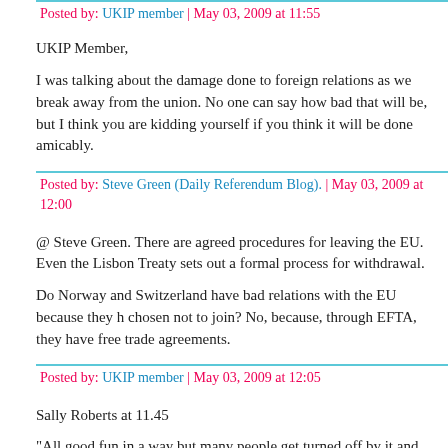Posted by: UKIP member | May 03, 2009 at 11:55
UKIP Member,
I was talking about the damage done to foreign relations as we break away from the union. No one can say how bad that will be, but I think you are kidding yourself if you think it will be done amicably.
Posted by: Steve Green (Daily Referendum Blog). | May 03, 2009 at 12:00
@ Steve Green. There are agreed procedures for leaving the EU. Even the Lisbon Treaty sets out a formal process for withdrawal.
Do Norway and Switzerland have bad relations with the EU because they have chosen not to join? No, because, through EFTA, they have free trade agreements.
Posted by: UKIP member | May 03, 2009 at 12:05
Sally Roberts at 11.45
"All good fun in a way but many people get turned off by it and that is why, by and large, one tends to read the same comments from the same people."